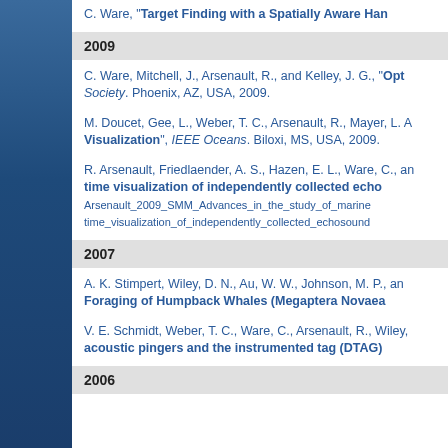C. Ware, "Target Finding with a Spatially Aware Han...
2009
C. Ware, Mitchell, J., Arsenault, R., and Kelley, J. G., "Opt... Society. Phoenix, AZ, USA, 2009.
M. Doucet, Gee, L., Weber, T. C., Arsenault, R., Mayer, L. A... "Visualization", IEEE Oceans. Biloxi, MS, USA, 2009.
R. Arsenault, Friedlaender, A. S., Hazen, E. L., Ware, C., an... time visualization of independently collected echo... Arsenault_2009_SMM_Advances_in_the_study_of_marine... time_visualization_of_independently_collected_echosound...
2007
A. K. Stimpert, Wiley, D. N., Au, W. W., Johnson, M. P., an... Foraging of Humpback Whales (Megaptera Novaea...
V. E. Schmidt, Weber, T. C., Ware, C., Arsenault, R., Wiley,... acoustic pingers and the instrumented tag (DTAG)...
2006